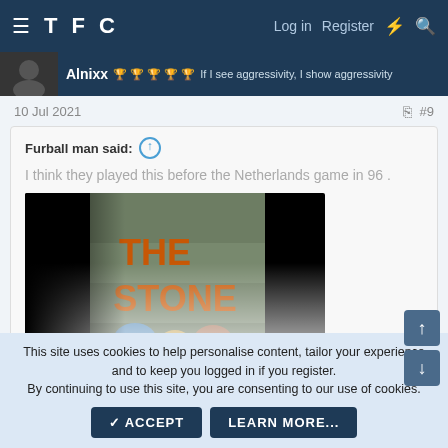TFC   Log in   Register
Alnixx   If I see aggressivity, I show aggressivity
10 Jul 2021   #9
Furball man said:
I think they played this before the Netherlands game in 96 .
[Figure (photo): The Stone Roses album/video thumbnail with orange text reading THE STONE ROSES on a dark background with water/splash imagery]
Click to expand...
This site uses cookies to help personalise content, tailor your experience and to keep you logged in if you register.
By continuing to use this site, you are consenting to our use of cookies.
✓ ACCEPT   LEARN MORE...